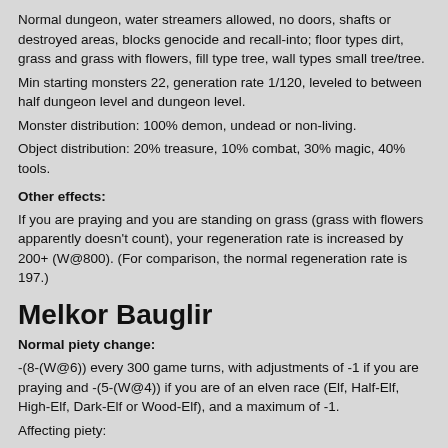Normal dungeon, water streamers allowed, no doors, shafts or destroyed areas, blocks genocide and recall-into; floor types dirt, grass and grass with flowers, fill type tree, wall types small tree/tree.
Min starting monsters 22, generation rate 1/120, leveled to between half dungeon level and dungeon level.
Monster distribution: 100% demon, undead or non-living.
Object distribution: 20% treasure, 10% combat, 30% magic, 40% tools.
Other effects:
If you are praying and you are standing on grass (grass with flowers apparently doesn't count), your regeneration rate is increased by 200+ (W@800). (For comparison, the normal regeneration rate is 197.)
Melkor Bauglir
Normal piety change:
-(8-(W@6)) every 300 game turns, with adjustments of -1 if you are praying and -(5-(W@4)) if you are of an elven race (Elf, Half-Elf, High-Elf, Dark-Elf or Wood-Elf), and a maximum of -1.
Affecting piety:
Killing a monster increases your piety by M×3 if it is good, 1+M/2